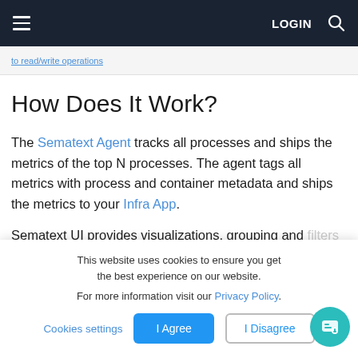LOGIN
to read/write operations
How Does It Work?
The Sematext Agent tracks all processes and ships the metrics of the top N processes. The agent tags all metrics with process and container metadata and ships the metrics to your Infra App.
Sematext UI provides visualizations, grouping and filters for the results.
This website uses cookies to ensure you get the best experience on our website.

For more information visit our Privacy Policy.
Cookies settings
I Agree
I Disagree